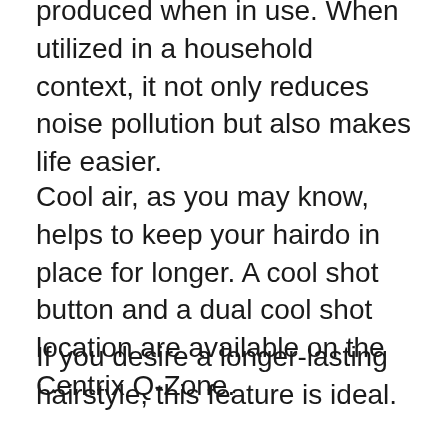produced when in use. When utilized in a household context, it not only reduces noise pollution but also makes life easier.
Cool air, as you may know, helps to keep your hairdo in place for longer. A cool shot button and a dual cool shot location are available on the Centrix Q-Zone.
If you desire a longer-lasting hairstyle, this feature is ideal.
This feature will appeal to people who enjoy more complex haircuts.
A concentrator nozzle is included with the dryer. This allows you to have more control over the airflow direction, which is beneficial